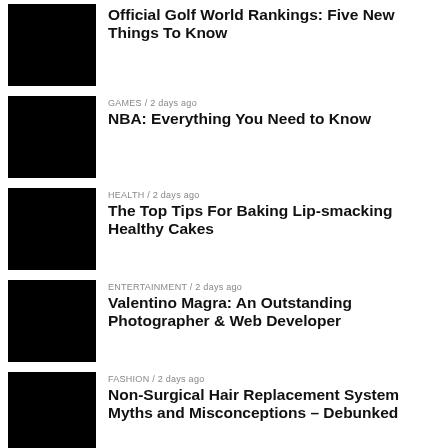[Figure (photo): Black thumbnail image for golf article]
Official Golf World Rankings: Five New Things To Know
[Figure (photo): Black thumbnail image for NBA article]
GAMES / 2 days ago
NBA: Everything You Need to Know
[Figure (photo): Black thumbnail image for baking article]
HEALTH / 2 days ago
The Top Tips For Baking Lip-smacking Healthy Cakes
[Figure (photo): Black thumbnail image for Valentino article]
ENTERTAINMENT / 2 days ago
Valentino Magra: An Outstanding Photographer & Web Developer
[Figure (photo): Black thumbnail image for fashion article]
FASHION / 2 days ago
Non-Surgical Hair Replacement System Myths and Misconceptions – Debunked